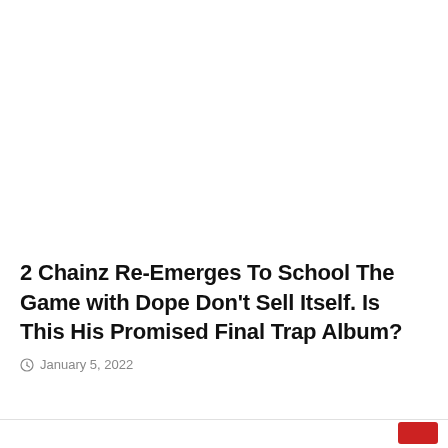2 Chainz Re-Emerges To School The Game with Dope Don't Sell Itself. Is This His Promised Final Trap Album?
January 5, 2022